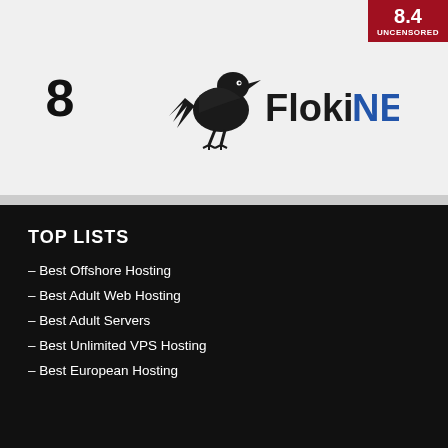8
[Figure (logo): FlokiNET logo with a raven and text 'FlokiNET' in dark/blue color]
[Figure (infographic): Red badge showing score 8.4 and label UNCENSORED]
TOP LISTS
– Best Offshore Hosting
– Best Adult Web Hosting
– Best Adult Servers
– Best Unlimited VPS Hosting
– Best European Hosting